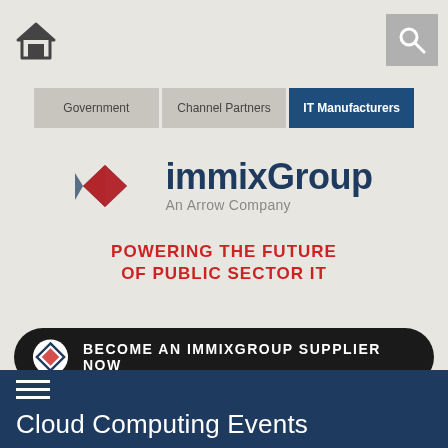[Figure (logo): Home icon (house silhouette) in dark gray]
[Figure (logo): Search icon (magnifying glass) on gray background]
[Figure (infographic): Navigation tabs: Government, Channel Partners, IT Manufacturers (active/highlighted in dark blue)]
[Figure (logo): immixGroup logo with geometric diamond shape in blue and red, text 'immixGroup An Arrow Company', tagline 'POWERING THE FUTURE OF PUBLIC SECTOR IT' in red]
BECOME AN IMMIXGROUP SUPPLIER NOW
[Figure (infographic): Hamburger menu icon (three horizontal lines) in white on dark blue background]
Cloud Computing Events